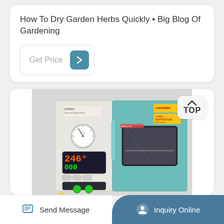How To Dry Garden Herbs Quickly • Big Blog Of Gardening
Get Price
[Figure (photo): A vacuum drying oven machine with a white and teal body, featuring a pressure gauge, digital temperature display showing 246°C, control buttons, and a viewing window on the door.]
TOP
Send Message
Inquiry Online